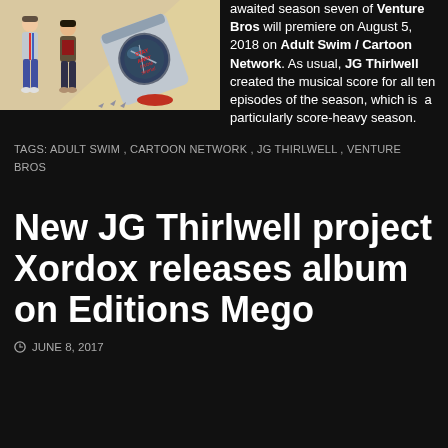[Figure (illustration): Illustration of two cartoon characters standing next to a toppled washing machine or dryer with text 'Stay Away From Sirena!' written on it, set against a tan/beige background.]
awaited season seven of Venture Bros will premiere on August 5, 2018 on Adult Swim / Cartoon Network. As usual, JG Thirlwell created the musical score for all ten episodes of the season, which is a particularly score-heavy season.
TAGS: ADULT SWIM, CARTOON NETWORK, JG THIRLWELL, VENTURE BROS
New JG Thirlwell project Xordox releases album on Editions Mego
JUNE 8, 2017